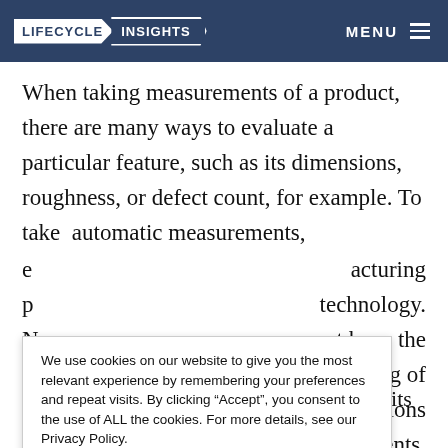LIFECYCLE INSIGHTS MENU
When taking measurements of a product, there are many ways to evaluate a particular feature, such as its dimensions, roughness, or defect count, for example. To take automatic measurements,
We use cookies on our website to give you the most relevant experience by remembering your preferences and repeat visits. By clicking “Accept”, you consent to the use of ALL the cookies. For more details, see our Privacy Policy. Read More
generation, virtual simulation, AI etc.into its CMMs’